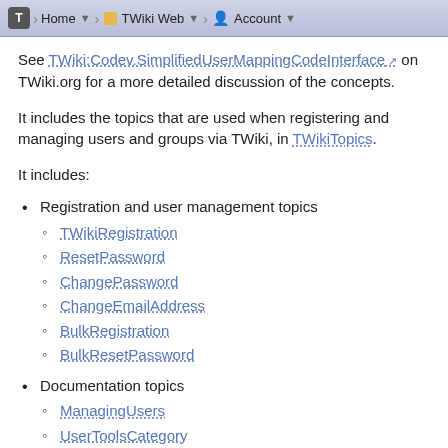Home / TWiki Web / Account
See TWiki:Codev.SimplifiedUserMappingCodeInterface on TWiki.org for a more detailed discussion of the concepts.
It includes the topics that are used when registering and managing users and groups via TWiki, in TWikiTopics.
It includes:
Registration and user management topics
TWikiRegistration
ResetPassword
ChangePassword
ChangeEmailAddress
BulkRegistration
BulkResetPassword
Documentation topics
ManagingUsers
UserToolsCategory
LoginName
default groups and user
NobodyGroup